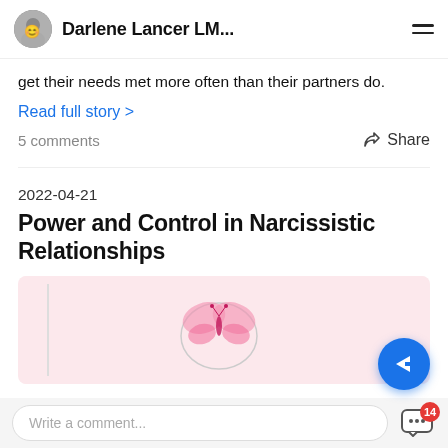Darlene Lancer LM...
get their needs met more often than their partners do.
Read full story >
5 comments
Share
2022-04-21
Power and Control in Narcissistic Relationships
[Figure (illustration): Pink background illustration with a butterfly and heart outline]
Write a comment...